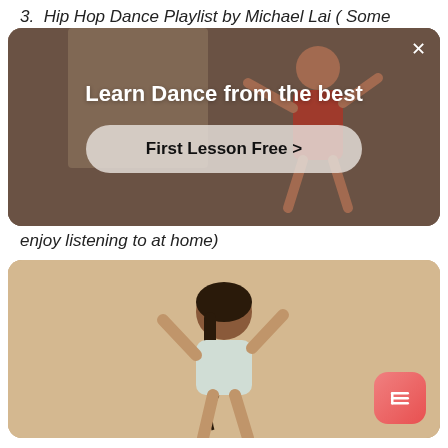3.  Hip Hop Dance Playlist by Michael Lai ( Some enjoy listening to at home)
[Figure (screenshot): Advertisement banner showing a person dancing in a studio. Text reads 'Learn Dance from the best' with a call-to-action button 'First Lesson Free >' and a close X button in the top right corner.]
[Figure (photo): Photo of a smiling woman with dark hair in a white t-shirt holding earphone wires and dancing on a beige background, with a red/pink hamburger menu icon button in the bottom right corner.]